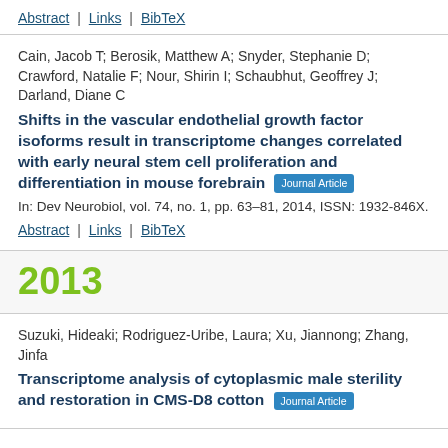Abstract | Links | BibTeX
Cain, Jacob T; Berosik, Matthew A; Snyder, Stephanie D; Crawford, Natalie F; Nour, Shirin I; Schaubhut, Geoffrey J; Darland, Diane C
Shifts in the vascular endothelial growth factor isoforms result in transcriptome changes correlated with early neural stem cell proliferation and differentiation in mouse forebrain [Journal Article]
In: Dev Neurobiol, vol. 74, no. 1, pp. 63-81, 2014, ISSN: 1932-846X.
Abstract | Links | BibTeX
2013
Suzuki, Hideaki; Rodriguez-Uribe, Laura; Xu, Jiannong; Zhang, Jinfa
Transcriptome analysis of cytoplasmic male sterility and restoration in CMS-D8 cotton [Journal Article]